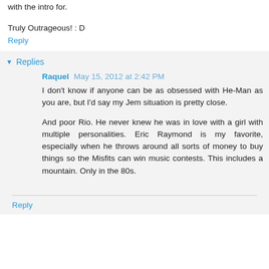with the intro for.
Truly Outrageous! : D
Reply
Replies
Raquel  May 15, 2012 at 2:42 PM
I don't know if anyone can be as obsessed with He-Man as you are, but I'd say my Jem situation is pretty close.
And poor Rio. He never knew he was in love with a girl with multiple personalities. Eric Raymond is my favorite, especially when he throws around all sorts of money to buy things so the Misfits can win music contests. This includes a mountain. Only in the 80s.
Reply